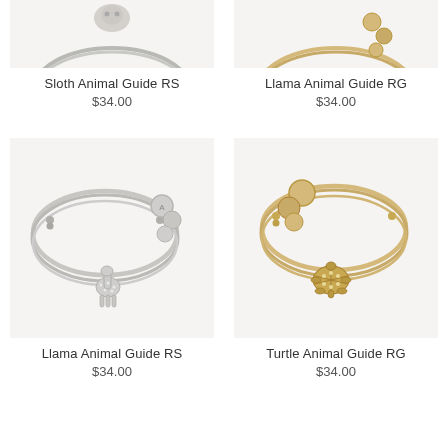[Figure (photo): Sloth Animal Guide RS bangle bracelet, silver tone, partially cropped at top]
Sloth Animal Guide RS
$34.00
[Figure (photo): Llama Animal Guide RG bangle bracelet, gold tone, partially cropped at top]
Llama Animal Guide RG
$34.00
[Figure (photo): Llama Animal Guide RS bangle bracelet, silver tone, full view]
Llama Animal Guide RS
$34.00
[Figure (photo): Turtle Animal Guide RG bangle bracelet, gold tone, full view]
Turtle Animal Guide RG
$34.00